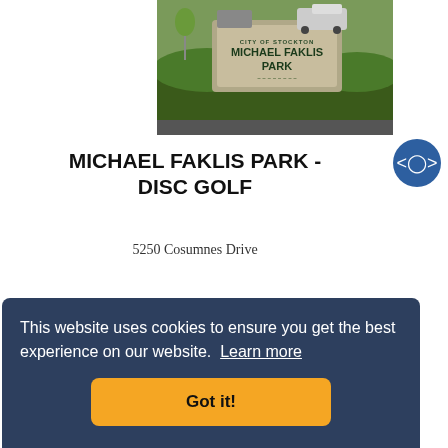[Figure (photo): Photo of Michael Faklis Park entrance sign reading 'City of Stockton - Michael Faklis Park' with hedges and vehicles in background]
MICHAEL FAKLIS PARK - DISC GOLF
5250 Cosumnes Drive
This website uses cookies to ensure you get the best experience on our website. Learn more
Got it!